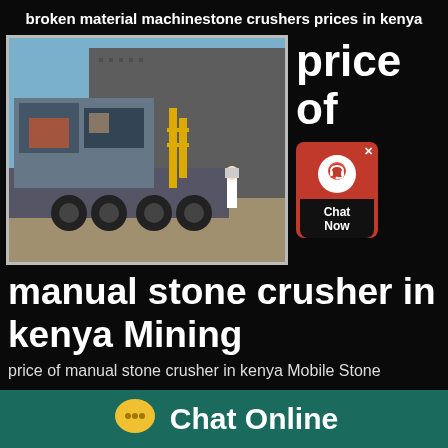broken material machinestone crushers prices in kenya
[Figure (photo): A large mobile stone crusher machine mounted on a heavy truck, parked in an industrial yard next to a building. A person in a hard hat is visible in the background.]
price of
[Figure (infographic): Red chat widget with headset icon and 'Chat Now' text on dark background]
manual stone crusher in kenya Mining
price of manual stone crusher in kenya Mobile Stone
[Figure (infographic): Teal bottom bar with yellow speech bubble chat icon and 'Chat Online' text in white]